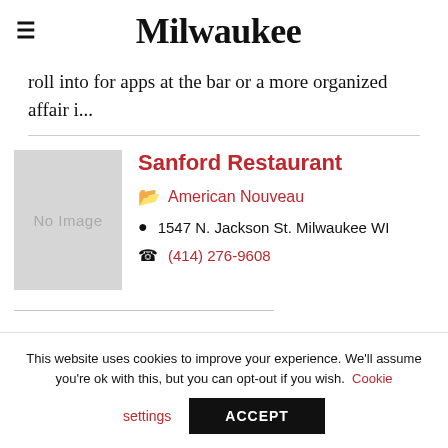Milwaukee
roll into for apps at the bar or a more organized affair i...
Sanford Restaurant
American Nouveau
1547 N. Jackson St. Milwaukee WI
(414) 276-9608
This website uses cookies to improve your experience. We'll assume you're ok with this, but you can opt-out if you wish. Cookie settings ACCEPT